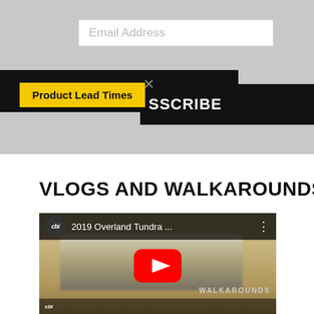[Figure (screenshot): Email subscription area with gray background, email input field, black banner with close X, yellow 'Product Lead Times' button, and SUBSCRIBE button]
VLOGS AND WALKAROUNDS
[Figure (screenshot): YouTube video thumbnail for '2019 Overland Tundra ...' by CBI channel with play button overlay showing a truck in desert setting]